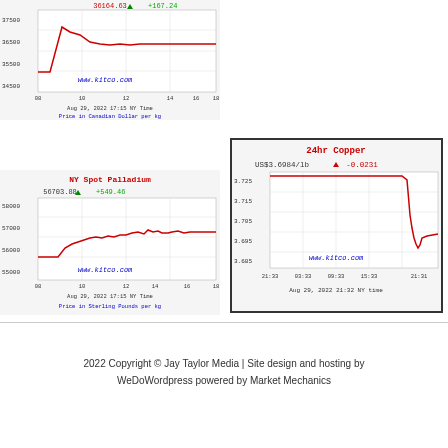[Figure (continuous-plot): NY Spot Palladium chart top - 36164.63 +167.24, kitco.com, Aug 29 2022 17:15 NY Time, Price in Canadian Dollar per kg]
[Figure (continuous-plot): NY Spot Palladium chart bottom - 56703.88 +549.46, kitco.com, Aug 29 2022 17:15 NY Time, Price in Sterling Pounds per kg]
[Figure (continuous-plot): 24hr Copper chart - US$3.6984/lb -0.0231, kitco.com, Aug 29 2022 21:32 NY time]
2022 Copyright © Jay Taylor Media | Site design and hosting by WeDoWordpress powered by Market Mechanics